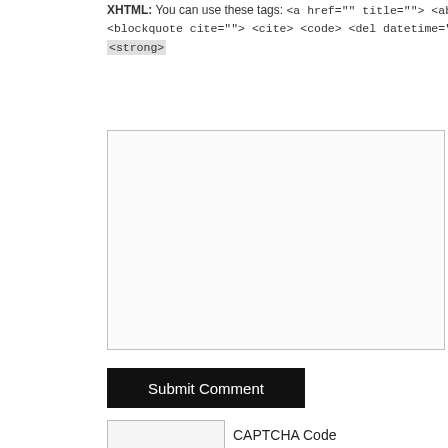XHTML: You can use these tags: <a href="" title=""> <abbr title= <blockquote cite=""> <cite> <code> <del datetime=""> <em> <i> <strong>
[Figure (screenshot): Empty textarea input box for comment submission]
[Figure (screenshot): Submit Comment button - black background with white text]
CAPTCHA Code
[Figure (screenshot): CAPTCHA image showing characters B H F 2 on a metal plate background with refresh and audio icons]
[Figure (screenshot): Bottom section with white input box area]